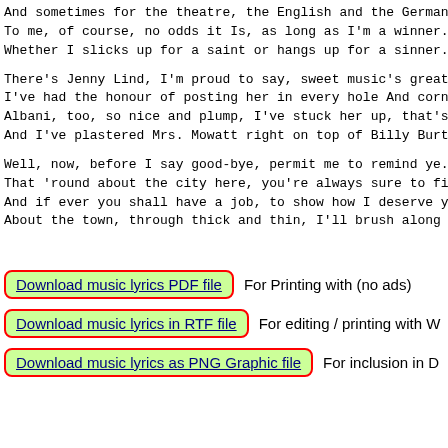And sometimes for the theatre, the English and the Germane
To me, of course, no odds it Is, as long as I'm a winner.
Whether I slicks up for a saint or hangs up for a sinner.
There's Jenny Lind, I'm proud to say, sweet music's great
I've had the honour of posting her in every hole And corne
Albani, too, so nice and plump, I've stuck her up, that's
And I've plastered Mrs. Mowatt right on top of Billy Burto
Well, now, before I say good-bye, permit me to remind ye.
That 'round about the city here, you're always sure to fin
And if ever you shall have a job, to show how I deserve ye
About the town, through thick and thin, I'll brush along t
Download music lyrics PDF file   For Printing with (no ads)
Download music lyrics in RTF file   For editing / printing with W
Download music lyrics as PNG Graphic file   For inclusion in D